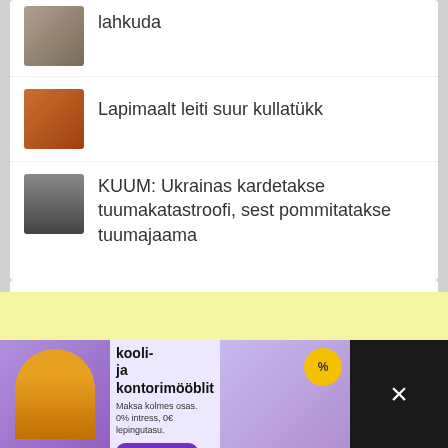Lapimaalt leiti suur kullatükk
KUUM: Ukrainas kardetakse tuumakatastroofi, sest pommitatakse tuumajaama
[Figure (screenshot): Yellow advertisement background area]
[Figure (photo): Banner advertisement: Suurim valik kooli- ja kontorimööblit. Maksa kolmes osas. 0% intress, 0€ lepingutasu. www.on24.ee]